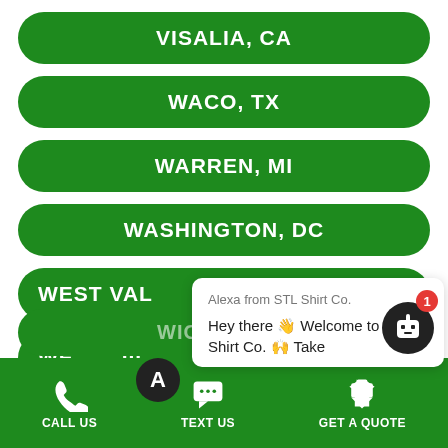VISALIA, CA
WACO, TX
WARREN, MI
WASHINGTON, DC
WEST VAL[ley] (partially obscured)
WE[stminster?] (partially obscured)
WICHITA, KS (partially visible)
Alexa from STL Shirt Co.
Hey there 👋 Welcome to STL Shirt Co. 🙌 Take
CALL US   TEXT US   GET A QUOTE